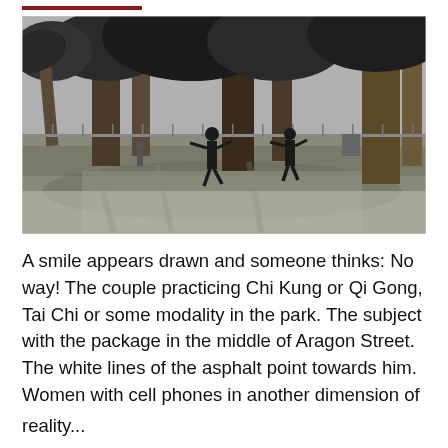[Figure (photo): Black and white photograph of two people practicing Tai Chi or Qi Gong in a park, with large trees in the background and shadows on the grass.]
A smile appears drawn and someone thinks: No way! The couple practicing Chi Kung or Qi Gong, Tai Chi or some modality in the park. The subject with the package in the middle of Aragon Street. The white lines of the asphalt point towards him. Women with cell phones in another dimension of reality...